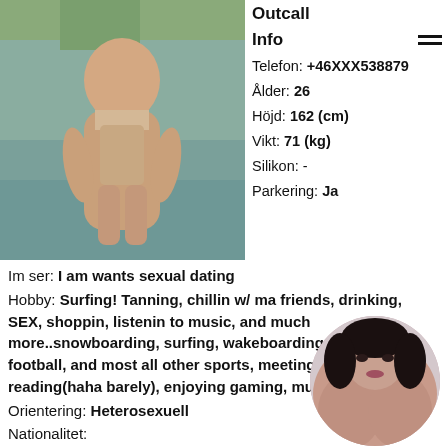[Figure (photo): Woman in beige swimsuit standing in water, poolside setting]
Outcall
Info
Telefon: +46XXX538879
Ålder: 26
Höjd: 162 (cm)
Vikt: 71 (kg)
Silikon: -
Parkering: Ja
Im ser: I am wants sexual dating
Hobby: Surfing! Tanning, chillin w/ ma friends, drinking, SEX, shoppin, listenin to music, and much more..snowboarding, surfing, wakeboarding, golfing, football, and most all other sports, meeting new people, reading(haha barely), enjoying gaming, music, partying
Orientering: Heterosexuell
Nationalitet:
Säker lägenhet: Nei
[Figure (photo): Woman with dark hair, circular cropped portrait photo]